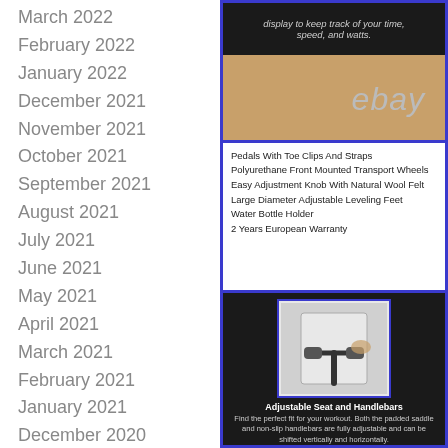March 2022
February 2022
January 2022
December 2021
November 2021
October 2021
September 2021
August 2021
July 2021
June 2021
May 2021
April 2021
March 2021
February 2021
January 2021
December 2020
[Figure (photo): eBay listing photo showing a cardboard box background with an ebay watermark text and a black banner at the top with text about display to keep track of your time, speed, and watts.]
[Figure (photo): Product feature list on white background listing: Pedals With Toe Clips And Straps, Polyurethane Front Mounted Transport Wheels, Easy Adjustment Knob With Natural Wool Felt, Large Diameter Adjustable Leveling Feet, Water Bottle Holder, 2 Years European Warranty]
[Figure (photo): Photo of adjustable seat and handlebars of an exercise bike on a dark background, with caption: Adjustable Seat and Handlebars. Find the perfect fit for your workout. Both the padded saddle and non-slip handlebars are fully adjustable and can be shifted vertically and horizontally.]